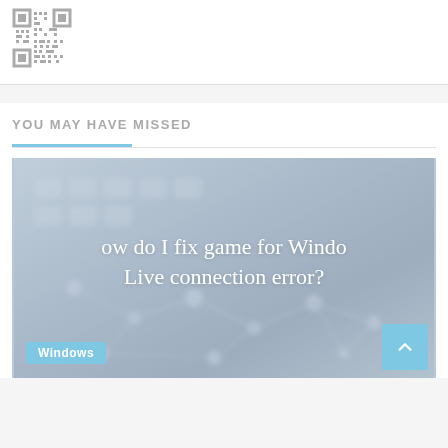[Figure (other): QR code image in top white card area]
YOU MAY HAVE MISSED
[Figure (photo): Blurred keyboard/network background image with overlaid text: 'how do I fix game for Windows Live connection error?' and a Windows category badge]
Windows